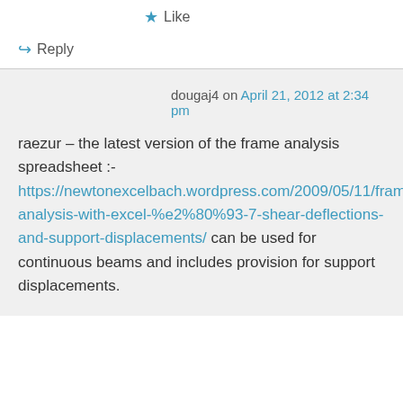★ Like
↪ Reply
dougaj4 on April 21, 2012 at 2:34 pm
raezur – the latest version of the frame analysis spreadsheet :- https://newtonexcelbach.wordpress.com/2009/05/11/frame-analysis-with-excel-%e2%80%93-7-shear-deflections-and-support-displacements/ can be used for continuous beams and includes provision for support displacements.